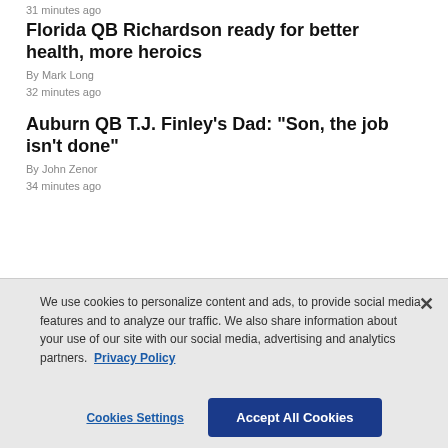31 minutes ago
Florida QB Richardson ready for better health, more heroics
By Mark Long
32 minutes ago
Auburn QB T.J. Finley's Dad: "Son, the job isn't done"
By John Zenor
34 minutes ago
[Figure (photo): Advertisement image strip with close button]
We use cookies to personalize content and ads, to provide social media features and to analyze our traffic. We also share information about your use of our site with our social media, advertising and analytics partners. Privacy Policy
Cookies Settings    Accept All Cookies